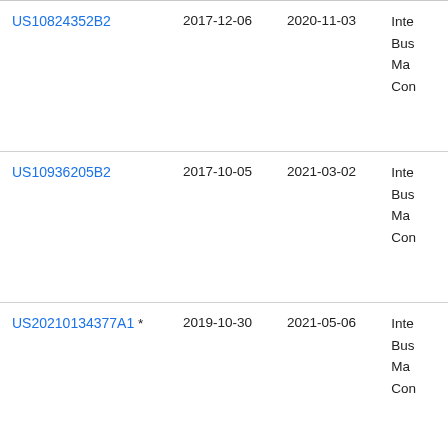| Patent Number | Filed | Published | Assignee (truncated) |
| --- | --- | --- | --- |
| US10824352B2 | 2017-12-06 | 2020-11-03 | Inte Bus Ma Con |
| US10936205B2 | 2017-10-05 | 2021-03-02 | Inte Bus Ma Con |
| US20210134377A1 * | 2019-10-30 | 2021-05-06 | Inte Bus Ma Con |
| US11133333B1 * | 2020-09-07 | 2021-09-29 | Mi... |